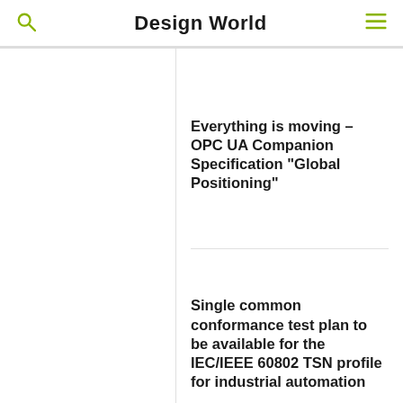Design World
Everything is moving – OPC UA Companion Specification “Global Positioning”
Single common conformance test plan to be available for the IEC/IEEE 60802 TSN profile for industrial automation